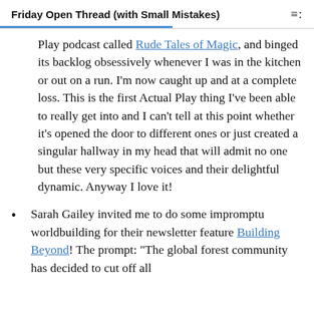Friday Open Thread (with Small Mistakes)
Play podcast called Rude Tales of Magic, and binged its backlog obsessively whenever I was in the kitchen or out on a run. I'm now caught up and at a complete loss. This is the first Actual Play thing I've been able to really get into and I can't tell at this point whether it's opened the door to different ones or just created a singular hallway in my head that will admit no one but these very specific voices and their delightful dynamic. Anyway I love it!
Sarah Gailey invited me to do some impromptu worldbuilding for their newsletter feature Building Beyond! The prompt: "The global forest community has decided to cut off all